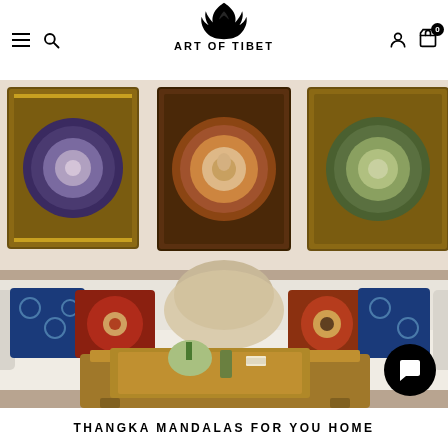ART OF TIBET
[Figure (photo): Living room interior with three Tibetan mandala thangka paintings hung on the wall above a white sofa decorated with colorful patterned cushions. A wooden tray with decorative items sits on the coffee table in the foreground.]
THANGKA MANDALAS FOR YOU HOME